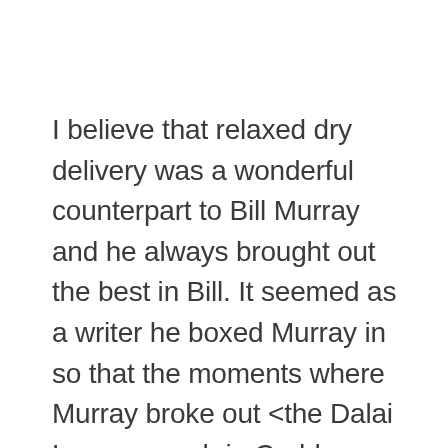I believe that relaxed dry delivery was a wonderful counterpart to Bill Murray and he always brought out the best in Bill. It seemed as a writer he boxed Murray in so that the moments where Murray broke out <the Dalai Lama speech in Caddy Shack or the It just Doesn't Matter speech in Meatballs or the Big Toe speech in Stripes> were even more impactfully funny.